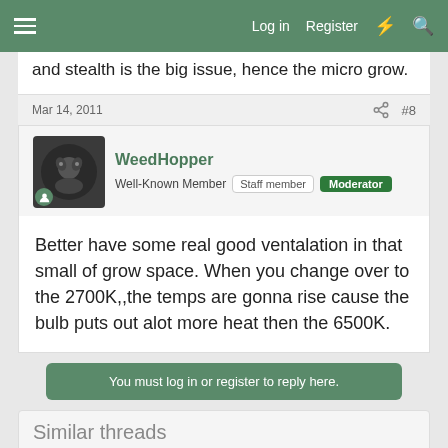Log in  Register
and stealth is the big issue, hence the micro grow.
Mar 14, 2011  #8
WeedHopper
Well-Known Member  Staff member  Moderator
Better have some real good ventalation in that small of grow space. When you change over to the 2700K,,the temps are gonna rise cause the bulb puts out alot more heat then the 6500K.
You must log in or register to reply here.
Similar threads
Need to be brought up to date. LED vs HID
Jericho · Lights